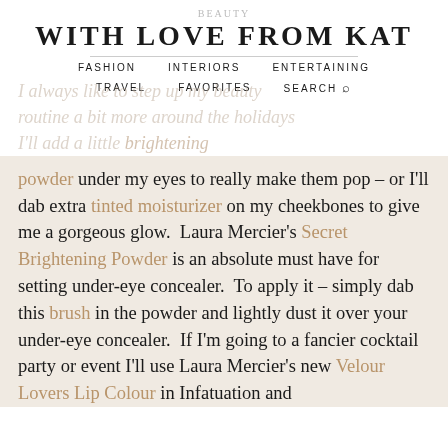WITH LOVE FROM KAT
FASHION   INTERIORS   ENTERTAINING
TRAVEL   FAVORITES   SEARCH
I always like to step up my beauty routine a bit more around the holidays I'll add a little brightening powder under my eyes to really make them pop – or I'll dab extra tinted moisturizer on my cheekbones to give me a gorgeous glow.  Laura Mercier's Secret Brightening Powder is an absolute must have for setting under-eye concealer.  To apply it – simply dab this brush in the powder and lightly dust it over your under-eye concealer.  If I'm going to a fancier cocktail party or event I'll use Laura Mercier's new Velour Lovers Lip Colour in Infatuation and